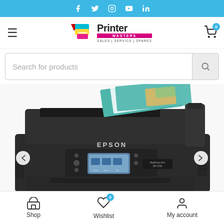Social media links bar: Facebook, Twitter, Instagram, YouTube, LinkedIn
[Figure (logo): Printer Masters logo with printer icon, brand name, MASTERS subtitle, SALES | SERVICE | SPARES tagline]
Search for products
[Figure (photo): Epson WorkForce Pro WF-3720 all-in-one printer, top/front view showing ADF with teal-colored documents loaded, control panel with LCD screen]
Shop | Wishlist 0 | My account